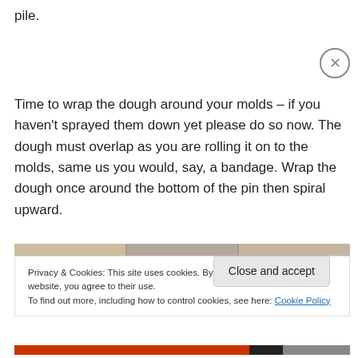pile.
Time to wrap the dough around your molds – if you haven't sprayed them down yet please do so now. The dough must overlap as you are rolling it on to the molds, same us you would, say, a bandage. Wrap the dough once around the bottom of the pin then spiral upward.
[Figure (photo): Partial photo strip showing food/dough preparation images]
Privacy & Cookies: This site uses cookies. By continuing to use this website, you agree to their use.
To find out more, including how to control cookies, see here: Cookie Policy
Close and accept